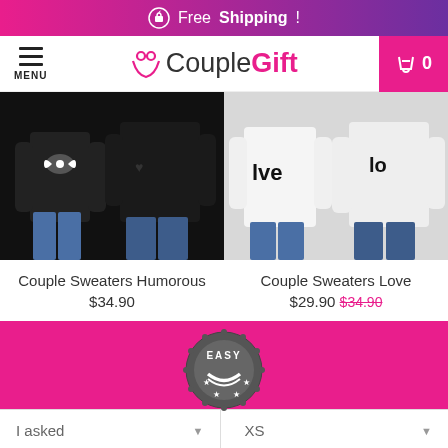Free Shipping !
[Figure (screenshot): CoupleGift website navigation bar with hamburger menu, logo, and cart icon showing 0 items]
[Figure (photo): Two product photos side by side: left shows couple wearing black sweaters (Humorous), right shows couple wearing white sweaters (Love)]
Couple Sweaters Humorous
$34.90
Couple Sweaters Love
$29.90 $34.90
[Figure (logo): EASY badge/seal logo in dark gray with stars]
I asked
XS
ADD TO CART
DISCOUNT CODE:GIFT15